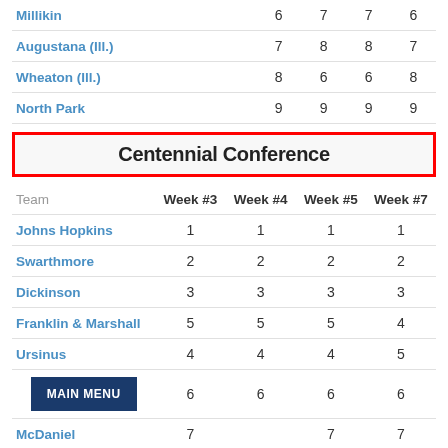| Team | Week #3 | Week #4 | Week #5 | Week #7 |
| --- | --- | --- | --- | --- |
| Millikin | 6 | 7 | 7 | 6 |
| Augustana (Ill.) | 7 | 8 | 8 | 7 |
| Wheaton (Ill.) | 8 | 6 | 6 | 8 |
| North Park | 9 | 9 | 9 | 9 |
Centennial Conference
| Team | Week #3 | Week #4 | Week #5 | Week #7 |
| --- | --- | --- | --- | --- |
| Johns Hopkins | 1 | 1 | 1 | 1 |
| Swarthmore | 2 | 2 | 2 | 2 |
| Dickinson | 3 | 3 | 3 | 3 |
| Franklin & Marshall | 5 | 5 | 5 | 4 |
| Ursinus | 4 | 4 | 4 | 5 |
| [MAIN MENU] | 6 | 6 | 6 | 6 |
| McDaniel | 7 |  | 7 | 7 |